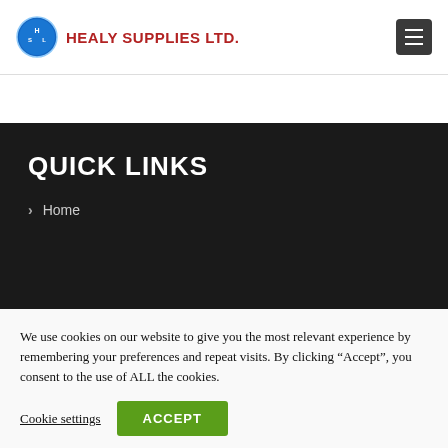[Figure (logo): Healy Supplies Ltd. logo — blue oval with HSL initials and red company name text]
QUICK LINKS
Home
We use cookies on our website to give you the most relevant experience by remembering your preferences and repeat visits. By clicking “Accept”, you consent to the use of ALL the cookies.
Cookie settings
ACCEPT